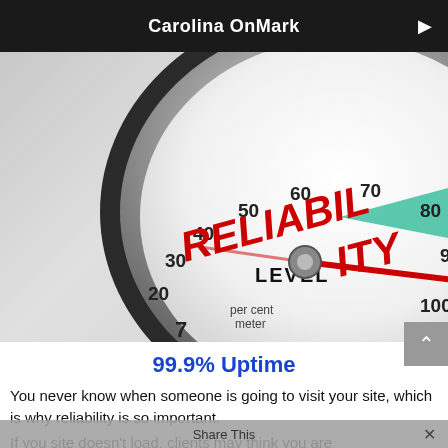Carolina OnMark
[Figure (photo): A closeup of a gauge styled as a 'reliability level percent meter', showing a red needle pointing near 100, with large red letters spelling RELIABILITY and the word LEVEL, scale markings from 7 to 100, and a teal/cyan highlighted zone near 90-100.]
99.9% Uptime
You never know when someone is going to visit your site, which is why reliability is so important.
If you site doesn't load, clients may think you are not paying attention anymore, that you have gone to